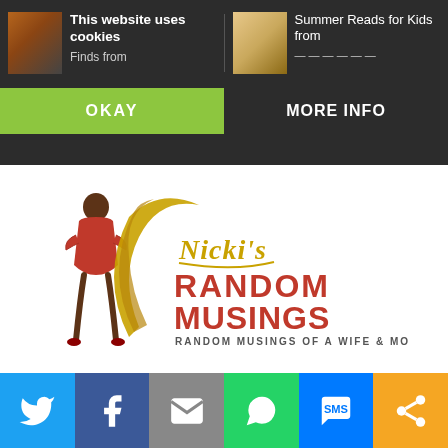This website uses cookies
Finds from
Summer Reads for Kids from
OKAY
MORE INFO
[Figure (logo): Nicki's Random Musings logo — woman figure, gold crescent and script lettering, red bold text 'RANDOM MUSINGS', tagline 'RANDOM MUSINGS OF A WIFE & MOTHER']
[Figure (infographic): Social share bar with Twitter (blue), Facebook (dark blue), Email (grey), WhatsApp (green), SMS (blue), Share (orange) icons]